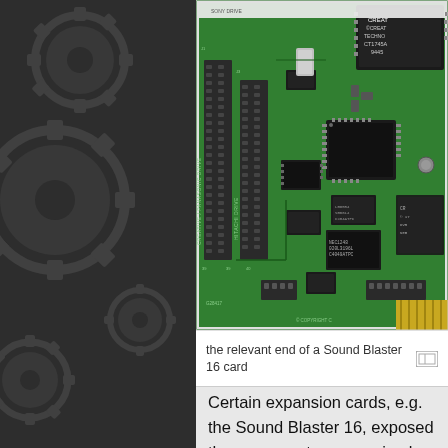[Figure (photo): Close-up photograph of the relevant end of a Sound Blaster 16 expansion card, showing the PCB (printed circuit board) with green substrate, multiple ICs, connectors, and CD-ROM drive interface headers. Labels visible include 'CREATIVE / PANASONIC DRIVE' and 'HITACHI DRIVE' on the connectors.]
the relevant end of a Sound Blaster 16 card
Certain expansion cards, e.g. the Sound Blaster 16, exposed these connectors as a simple way to connect these pre-ATAPI drives